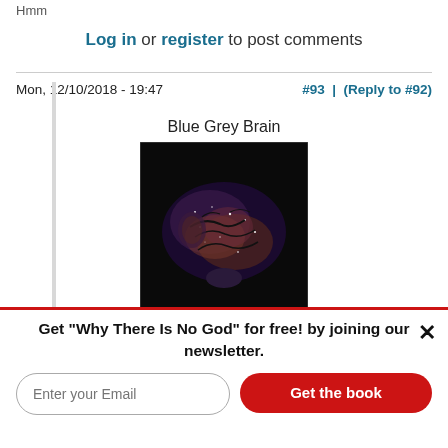Hmm
Log in or register to post comments
Mon, 12/10/2018 - 19:47   #93 | (Reply to #92)
Blue Grey Brain
[Figure (photo): A stylized human brain with a dark cosmic/galaxy texture on a black background]
Avant Brown: "For example, the hypothesis in
Get "Why There Is No God" for free! by joining our newsletter.